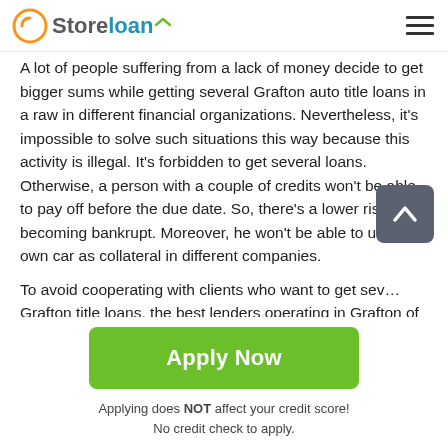Store loan
A lot of people suffering from a lack of money decide to get bigger sums while getting several Grafton auto title loans in a raw in different financial organizations. Nevertheless, it's impossible to solve such situations this way because this activity is illegal. It's forbidden to get several loans. Otherwise, a person with a couple of credits won't be able to pay off before the due date. So, there's a lower risk of becoming bankrupt. Moreover, he won't be able to use his own car as collateral in different companies.
To avoid cooperating with clients who want to get several Grafton title loans, the best lenders operating in Grafton of
Apply Now
Applying does NOT affect your credit score!
No credit check to apply.